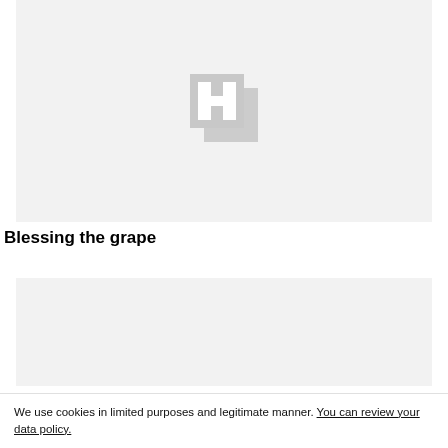[Figure (other): Gray placeholder image with a stylized H logo in the center (two overlapping square shapes in light gray forming an H)]
Blessing the grape
[Figure (other): Gray placeholder image block]
We use cookies in limited purposes and legitimate manner. You can review your data policy.